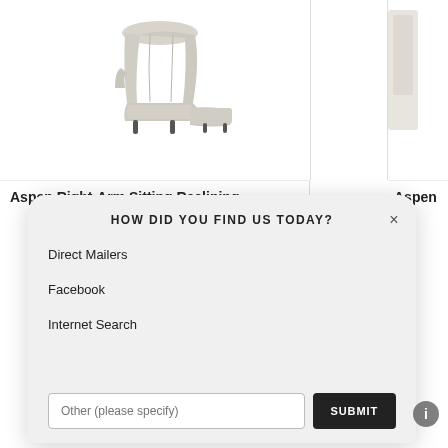[Figure (photo): Aspen Right-Arm Sitting Reclining chair/chaise in light gray fabric, viewed from the side, showing reclining seat and ottoman]
Aspen Right-Arm Sitting Reclining
Aspen P
HOW DID YOU FIND US TODAY?
Direct Mailers
Facebook
Internet Search
Other (please specify)
SUBMIT